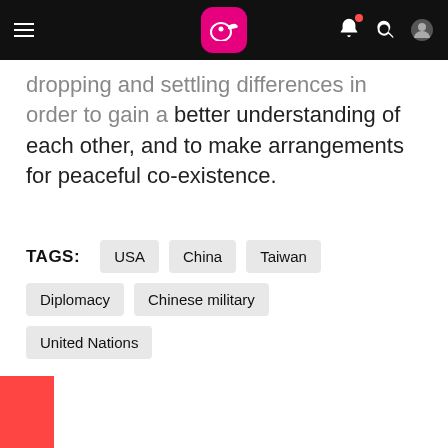Navigation bar with logo, hamburger menu, bell notification, search, and profile icons
…dropping and settling differences in order to gain a better understanding of each other, and to make arrangements for peaceful co-existence.
TAGS: USA | China | Taiwan | Diplomacy | Chinese military | United Nations